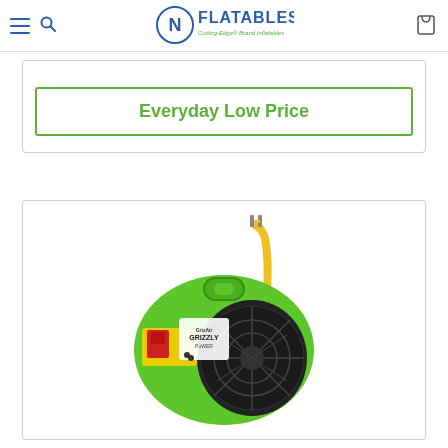N Flatables - Cutting-Edge Brand Inflatables
Everyday Low Price
[Figure (photo): Green inflatable blower/fan motor with yellow power cord and red on/off switch, branded 'Grizzly Power']